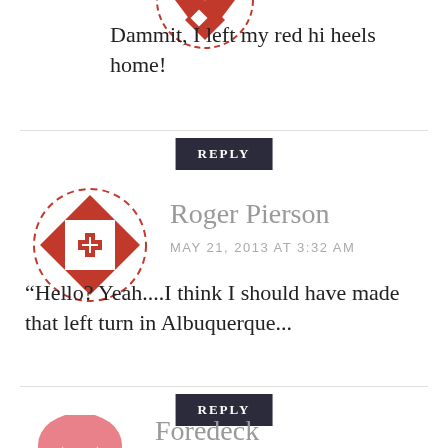[Figure (logo): Partial red geometric/diamond patterned circular logo at top]
Dammit, I left my red hi heels home!
REPLY
[Figure (logo): Roger Pierson avatar: circular logo with red geometric quilt-like pattern]
Roger Pierson
MAY 21, 2013 AT 3:32 AM
“Hello? Yeah....I think I should have made that left turn in Albuquerque...
REPLY
[Figure (logo): Foredeck logo: pink/salmon colored helmet-like icon]
Foredeck